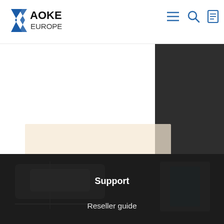[Figure (logo): AOKE EUROPE logo with blue K/A mark and text]
[Figure (screenshot): Navigation icons: hamburger menu, search, document icons in blue]
Sea
[Figure (photo): Dark background photo showing workshop/office equipment]
Support
Reseller guide